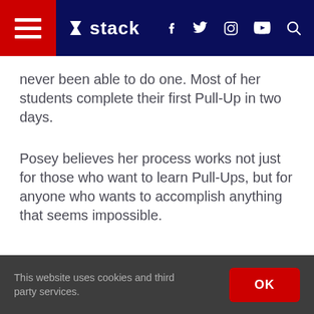stack — navigation bar with hamburger menu, logo, social icons (f, twitter, instagram, youtube), search
never been able to do one. Most of her students complete their first Pull-Up in two days.
Posey believes her process works not just for those who want to learn Pull-Ups, but for anyone who wants to accomplish anything that seems impossible.
This website uses cookies and third party services. OK